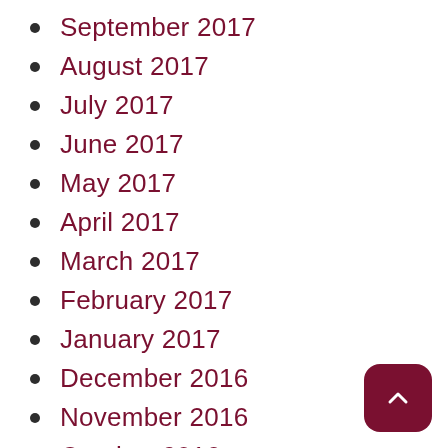September 2017
August 2017
July 2017
June 2017
May 2017
April 2017
March 2017
February 2017
January 2017
December 2016
November 2016
October 2016
April 2016
March 2016